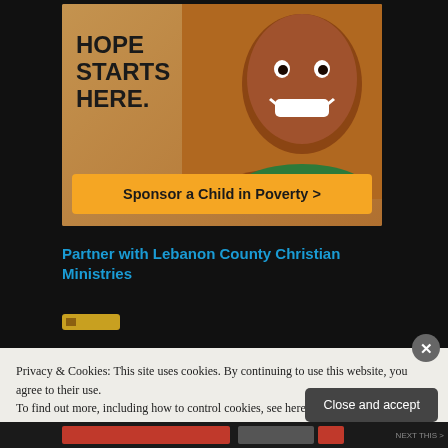[Figure (photo): Advertisement image showing a smiling African child with text 'HOPE STARTS HERE.' and a yellow button 'Sponsor a Child in Poverty >']
Partner with Lebanon County Christian Ministries
Privacy & Cookies: This site uses cookies. By continuing to use this website, you agree to their use.
To find out more, including how to control cookies, see here: Cookie Policy
Close and accept
[Figure (other): Bottom navigation bar with red and gray elements]